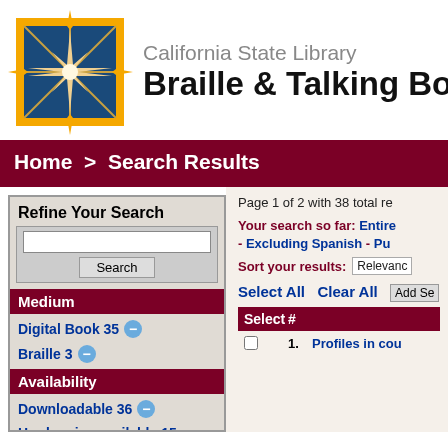[Figure (logo): California State Library star/compass logo in orange and blue]
California State Library Braille & Talking Boo
Home > Search Results
Refine Your Search
Page 1 of 2 with 38 total re
Your search so far: Entire - Excluding Spanish - Pu
Sort your results: Relevanc
Select All Clear All Add Se
Select #
Digital Book 35 −
Braille 3 −
Availability
Downloadable 36 −
Hardcopies available 15
1. Profiles in cou